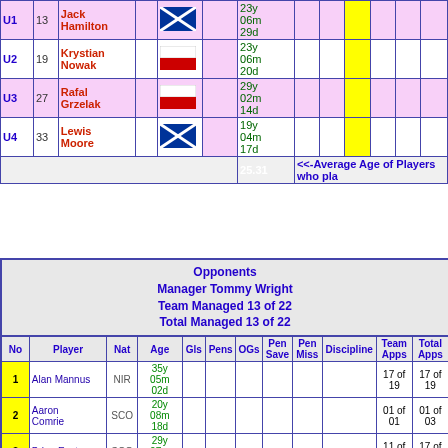|  | No | Player | Nat | Age | Gls | Pens | OGs | Pen Save | Pen Miss | Discipline | Team Apps | Total Apps |
| --- | --- | --- | --- | --- | --- | --- | --- | --- | --- | --- | --- | --- |
| U1 | 13 | Jack Hamilton | SCO | 23y 06m 29d |  |  |  |  |  |  |  |  |
| U2 | 19 | Krystian Nowak | POL | 23y 06m 20d |  |  |  |  |  |  |  |  |
| U3 | 27 | Rafal Grzelak | POL | 29y 02m 14d |  |  |  |  |  |  |  |  |
| U4 | 33 | Lewis Moore | SCO | 19y 04m 17d |  |  |  |  |  |  |  |  |
|  |  |  |  | 25.31 | <<-Average Age of Players who play |  |  |  |  |  |  |  |
Opponents
Manager Tommy Wright
Team Managed 13 of 22
Total Managed 13 of 22
| No | Player | Nat | Age | Gls | Pens | OGs | Pen Save | Pen Miss | Discipline | Team Apps | Total Apps |
| --- | --- | --- | --- | --- | --- | --- | --- | --- | --- | --- | --- |
| 1 | Alan Mannus | NIR | 35y 05m 02d |  |  |  |  |  |  | 17 of 19 | 17 of 19 |
| 2 | Aaron Comrie | SCO | 20y 08m 18d |  |  |  |  |  |  | 01 of 01 | 01 of 03 |
| 3 | Brian Easton | SCO | 29y 07m 16d |  |  |  |  |  |  | 11 of 11 | 17 of 19 |
| 4 | Joe Shaughnessy | IRL | 25y 03m 15d |  |  |  |  |  |  | 10 of 16 | 15 of 25 |